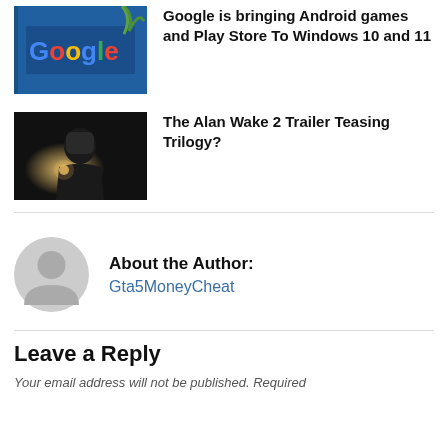[Figure (photo): Google building exterior with colorful Google logo signage]
Google is bringing Android games and Play Store To Windows 10 and 11
[Figure (photo): Dark cinematic scene showing a man's face in dim lighting]
The Alan Wake 2 Trailer Teasing Trilogy?
[Figure (illustration): Generic user avatar icon (circle with person silhouette in gray)]
About the Author:
Gta5MoneyCheat
Leave a Reply
Your email address will not be published. Required